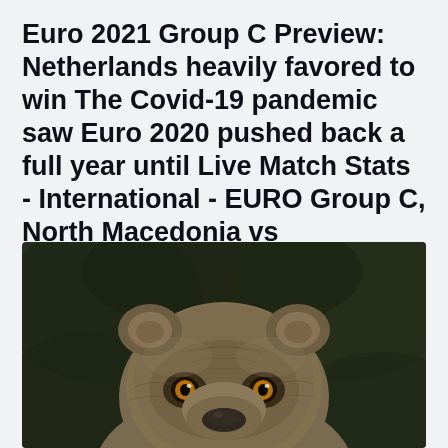Euro 2021 Group C Preview: Netherlands heavily favored to win The Covid-19 pandemic saw Euro 2020 pushed back a full year until Live Match Stats - International - EURO Group C, North Macedonia vs Netherlands, .
[Figure (photo): Close-up photograph of a bear's face looking directly at the camera, with dark blurred background foliage. The bear has amber/golden eyes, rounded ears, and brownish-grey fur.]